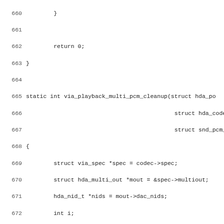Source code listing, lines 660-691, showing C function via_playback_multi_pcm_cleanup with struct initialization, loop constructs, and codec stream setup calls.